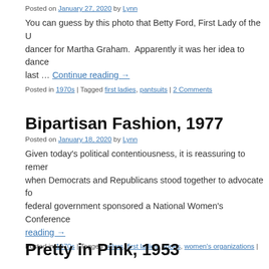Posted on January 27, 2020 by Lynn
You can guess by this photo that Betty Ford, First Lady of the U… dancer for Martha Graham.  Apparently it was her idea to dance … last … Continue reading →
Posted in 1970s | Tagged first ladies, pantsuits | 2 Comments
Bipartisan Fashion, 1977
Posted on January 18, 2020 by Lynn
Given today's political contentiousness, it is reassuring to remer… when Democrats and Republicans stood together to advocate fo… federal government sponsored a National Women's Conference … reading →
Posted in 1970s | Tagged colors, first ladies, shoes, women's organizations |
Pretty in Pink, 1953